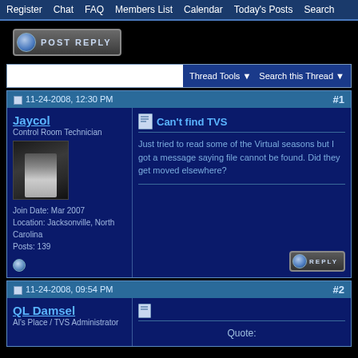Register  Chat  FAQ  Members List  Calendar  Today's Posts  Search
[Figure (screenshot): POST REPLY button with metallic orb and gradient styling]
Thread Tools  Search this Thread
11-24-2008, 12:30 PM  #1
Jaycol
Control Room Technician
Join Date: Mar 2007
Location: Jacksonville, North Carolina
Posts: 139
Can't find TVS
Just tried to read some of the Virtual seasons but I got a message saying file cannot be found. Did they get moved elsewhere?
11-24-2008, 09:54 PM  #2
QL Damsel
Al's Place / TVS Administrator
Quote: